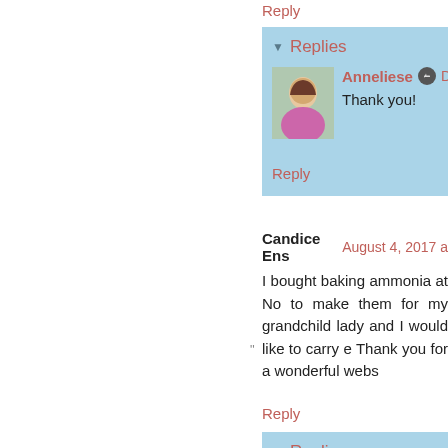Reply
▼ Replies
Anneliese  December
Thank you!
Reply
Candice Ens  August 4, 2017 a
I bought baking ammonia at No to make them for my grandchild lady and I would like to carry e Thank you for a wonderful webs
Reply
▼ Replies
Anneliese  August
Thank you, Candice. I h